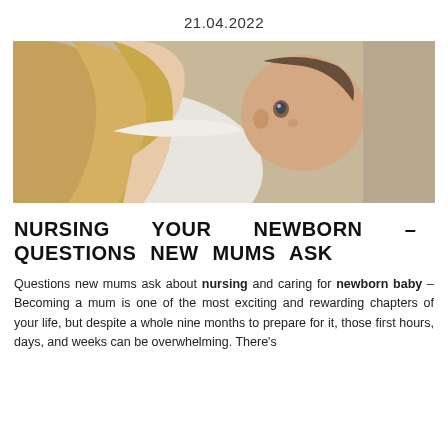21.04.2022
[Figure (photo): Close-up photo of a mother with long blonde hair holding a newborn baby against her shoulder. The baby's face is visible, looking toward the camera.]
NURSING YOUR NEWBORN – QUESTIONS NEW MUMS ASK
Questions new mums ask about nursing and caring for newborn baby – Becoming a mum is one of the most exciting and rewarding chapters of your life, but despite a whole nine months to prepare for it, those first hours, days, and weeks can be overwhelming. There's